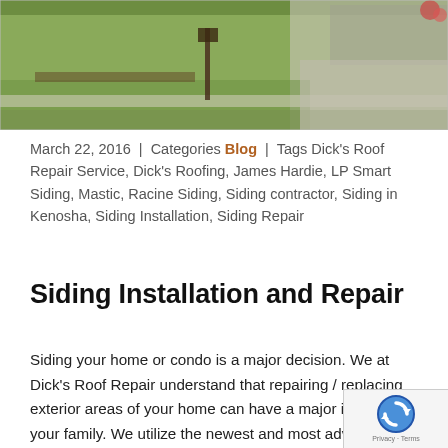[Figure (photo): Aerial/street view photo of a house with green lawn, driveway, mailbox post, and landscaping]
March 22, 2016  |  Categories Blog  |  Tags Dick's Roof Repair Service, Dick's Roofing, James Hardie, LP Smart Siding, Mastic, Racine Siding, Siding contractor, Siding in Kenosha, Siding Installation, Siding Repair
Siding Installation and Repair
Siding your home or condo is a major decision. We at Dick's Roof Repair understand that repairing / replacing exterior areas of your home can have a major impact on your family. We utilize the newest and most advanced siding products available on the market today to expedite the process. Some of the most popular products are cement board siding, Smart siding and vinyl siding. Dick's Roof Repair can re your old siding, install new insulation, and re-side your home to